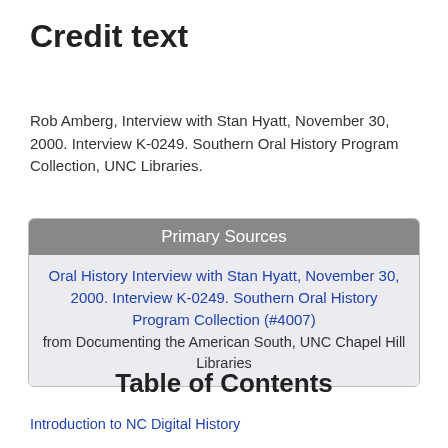Credit text
Rob Amberg, Interview with Stan Hyatt, November 30, 2000. Interview K-0249. Southern Oral History Program Collection, UNC Libraries.
Primary Sources
Oral History Interview with Stan Hyatt, November 30, 2000. Interview K-0249. Southern Oral History Program Collection (#4007) from Documenting the American South, UNC Chapel Hill Libraries
Table of Contents
Introduction to NC Digital History